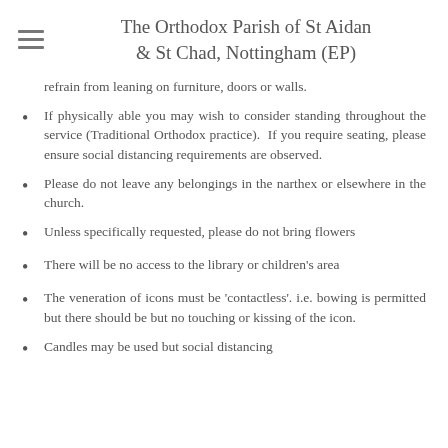The Orthodox Parish of St Aidan & St Chad, Nottingham (EP)
refrain from leaning on furniture, doors or walls.
If physically able you may wish to consider standing throughout the service (Traditional Orthodox practice). If you require seating, please ensure social distancing requirements are observed.
Please do not leave any belongings in the narthex or elsewhere in the church.
Unless specifically requested, please do not bring flowers
There will be no access to the library or children's area
The veneration of icons must be 'contactless'. i.e. bowing is permitted but there should be but no touching or kissing of the icon.
Candles may be used but social distancing